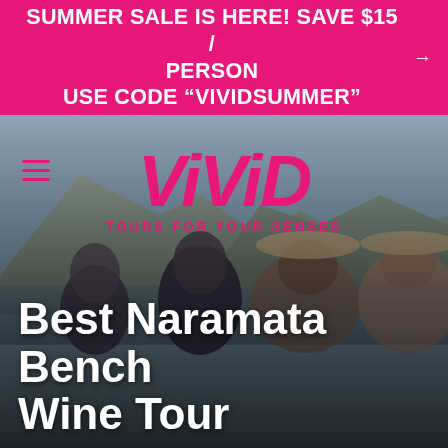SUMMER SALE IS HERE! SAVE $15 / PERSON USE CODE “VIVIDSUMMER”
[Figure (photo): Four women smiling at a winery on Naramata Bench with lake and mountains in the background, overlaid with the VIVID Tours logo in pink and a hamburger menu icon]
Best Naramata Bench Wine Tour